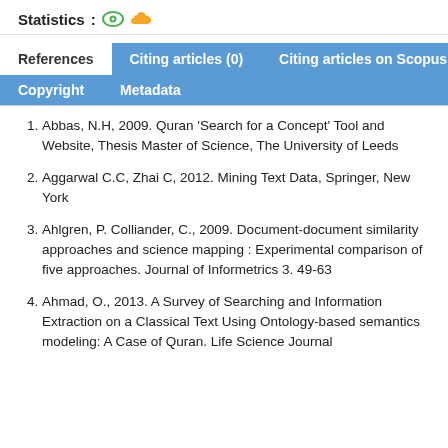Statistics: [eye icon] [cloud icon]
References | Citing articles (0) | Citing articles on Scopus (0) | Copyright | Metadata
Abbas, N.H, 2009. Quran 'Search for a Concept' Tool and Website, Thesis Master of Science, The University of Leeds
Aggarwal C.C, Zhai C, 2012. Mining Text Data, Springer, New York
Ahlgren, P. Colliander, C., 2009. Document-document similarity approaches and science mapping : Experimental comparison of five approaches. Journal of Informetrics 3. 49-63
Ahmad, O., 2013. A Survey of Searching and Information Extraction on a Classical Text Using Ontology-based semantics modeling: A Case of Quran. Life Science Journal